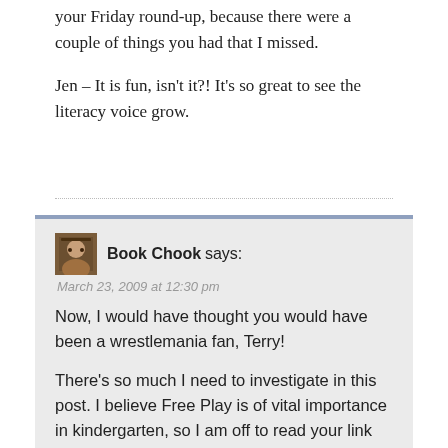your Friday round-up, because there were a couple of things you had that I missed.
Jen – It is fun, isn't it?! It's so great to see the literacy voice grow.
Book Chook says:
March 23, 2009 at 12:30 pm
Now, I would have thought you would have been a wrestlemania fan, Terry!

There's so much I need to investigate in this post. I believe Free Play is of vital importance in kindergarten, so I am off to read your link with steam already wisping from my ears!